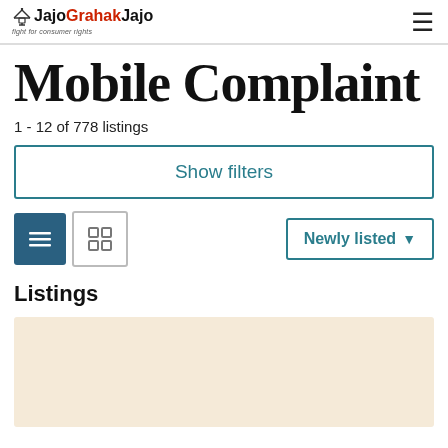JajoGrahakJajo — fight for consumer rights
Mobile Complaint
1 - 12 of 778 listings
Show filters
Newly listed
Listings
[Figure (other): Listing card placeholder with beige/cream background]